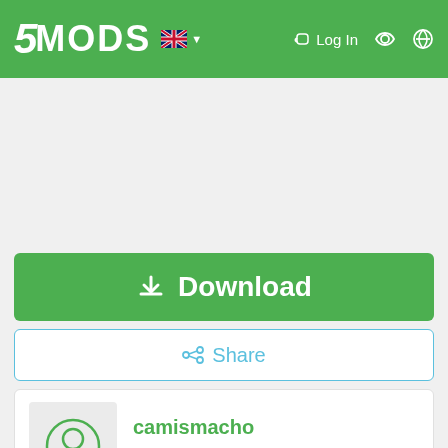5MODS — Log In
[Figure (screenshot): Grey empty content area placeholder]
Download
Share
camismacho